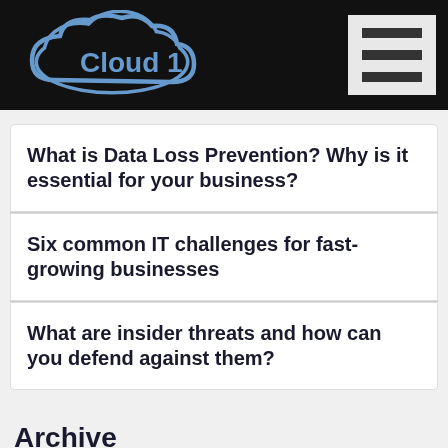Cloud 1
What is Data Loss Prevention? Why is it essential for your business?
Six common IT challenges for fast-growing businesses
What are insider threats and how can you defend against them?
Archive
Select Month